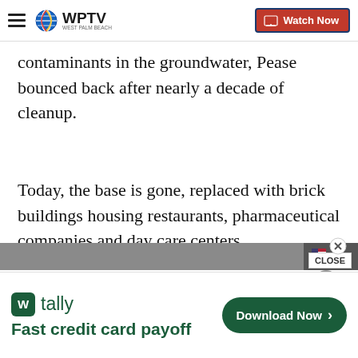WPTV Watch Now
contaminants in the groundwater, Pease bounced back after nearly a decade of cleanup.
Today, the base is gone, replaced with brick buildings housing restaurants, pharmaceutical companies and day care centers.
[Figure (photo): Partial bottom image strip, dark/grey tones with flag visible]
CLOSE
[Figure (screenshot): Tally app advertisement: Fast credit card payoff. Download Now button.]